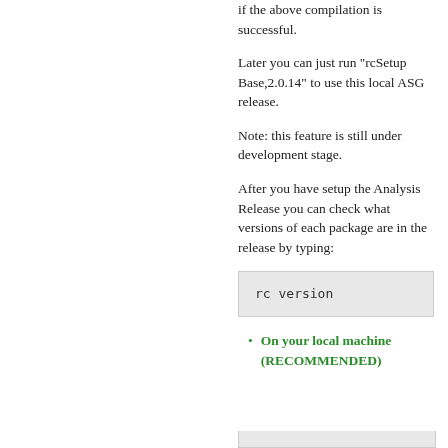if the above compilation is successful.
Later you can just run "rcSetup Base,2.0.14" to use this local ASG release.
Note: this feature is still under development stage.
After you have setup the Analysis Release you can check what versions of each package are in the release by typing:
rc version
On your local machine (RECOMMENDED)